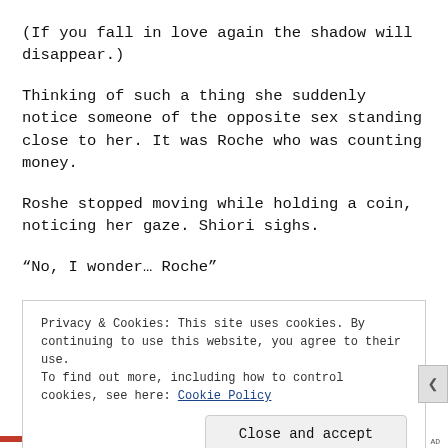(If you fall in love again the shadow will disappear.)
Thinking of such a thing she suddenly notice someone of the opposite sex standing close to her. It was Roche who was counting money.
Roshe stopped moving while holding a coin, noticing her gaze. Shiori sighs.
“No, I wonder… Roche”
Privacy & Cookies: This site uses cookies. By continuing to use this website, you agree to their use.
To find out more, including how to control cookies, see here: Cookie Policy
Close and accept